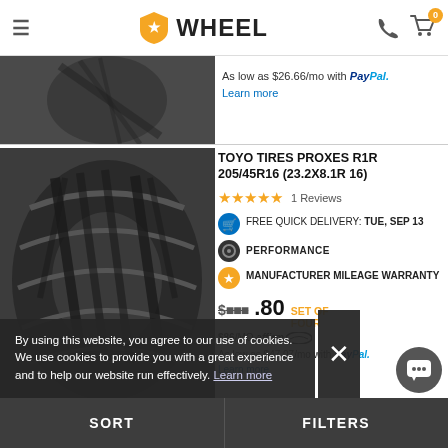WHEEL
As low as $26.66/mo with PayPal. Learn more
TOYO TIRES PROXES R1R 205/45R16 (23.2X8.1R 16)
★★★★★  1 Reviews
FREE QUICK DELIVERY: TUE, SEP 13
PERFORMANCE
MANUFACTURER MILEAGE WARRANTY
$_.80  SET OF FOUR
$86/MO affirm
As low as $47.07/mo with PayPal. Learn more
By using this website, you agree to our use of cookies. We use cookies to provide you with a great experience and to help our website run effectively. Learn more
SORT   FILTERS